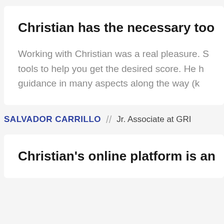Christian has the necessary too
Working with Christian was a real pleasure. S tools to help you get the desired score. He h guidance in many aspects along the way (k
SALVADOR CARRILLO // Jr. Associate at GRI
Christian's online platform is an